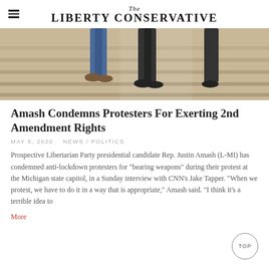The Liberty Conservative
[Figure (photo): Cropped photo showing people's legs and feet on stone steps, likely at a government building. The image is partially cut off at the top showing jeans and dark clothing.]
Amash Condemns Protesters For Exerting 2nd Amendment Rights
MAY 5, 2020   NEWS / POLITICS
Prospective Libertarian Party presidential candidate Rep. Justin Amash (L-MI) has condemned anti-lockdown protesters for "bearing weapons" during their protest at the Michigan state capitol, in a Sunday interview with CNN's Jake Tapper. "When we protest, we have to do it in a way that is appropriate," Amash said. "I think it's a terrible idea to
More